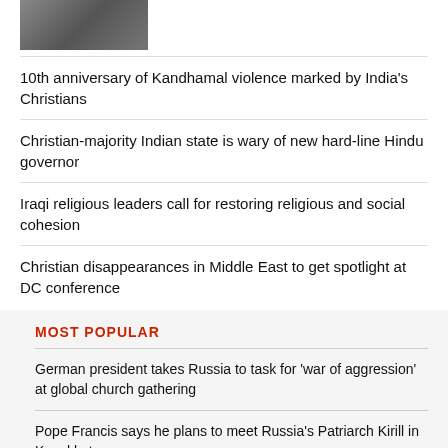[Figure (photo): Partial photo of two people, cropped at top of page]
10th anniversary of Kandhamal violence marked by India's Christians
Christian-majority Indian state is wary of new hard-line Hindu governor
Iraqi religious leaders call for restoring religious and social cohesion
Christian disappearances in Middle East to get spotlight at DC conference
MOST POPULAR
German president takes Russia to task for 'war of aggression' at global church gathering
Pope Francis says he plans to meet Russia's Patriarch Kirill in Kazakhstan